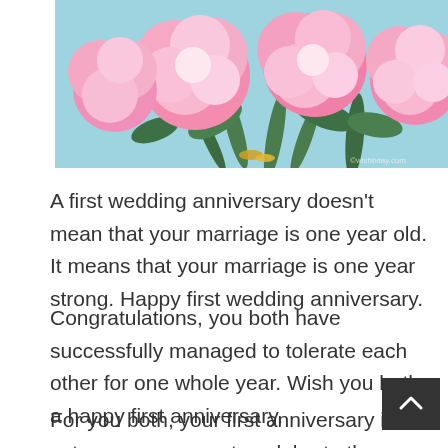[Figure (photo): Pink peonies and green leaves with gold rings, on a light blue background]
A first wedding anniversary doesn't mean that your marriage is one year old. It means that your marriage is one year strong. Happy first wedding anniversary.
Congratulations, you both have successfully managed to tolerate each other for one whole year. Wish you both a happy first anniversary.
For you both, your first anniversary is yet ano reason to celebrate the beautiful love in your life.